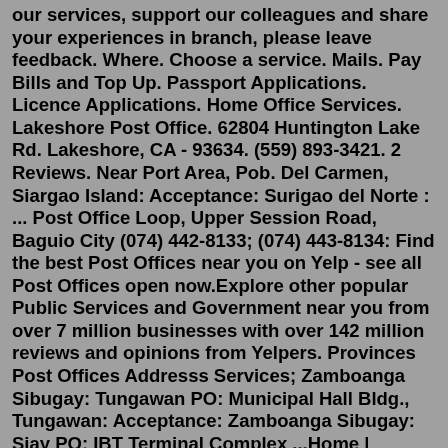our services, support our colleagues and share your experiences in branch, please leave feedback. Where. Choose a service. Mails. Pay Bills and Top Up. Passport Applications. Licence Applications. Home Office Services. Lakeshore Post Office. 62804 Huntington Lake Rd. Lakeshore, CA - 93634. (559) 893-3421. 2 Reviews. Near Port Area, Pob. Del Carmen, Siargao Island: Acceptance: Surigao del Norte : ... Post Office Loop, Upper Session Road, Baguio City (074) 442-8133; (074) 443-8134: Find the best Post Offices near you on Yelp - see all Post Offices open now.Explore other popular Public Services and Government near you from over 7 million businesses with over 142 million reviews and opinions from Yelpers. Provinces Post Offices Addresss Services; Zamboanga Sibugay: Tungawan PO: Municipal Hall Bldg., Tungawan: Acceptance: Zamboanga Sibugay: Siay PO: IBT Terminal Complex ...Home | Singapore PostConnect with our customer service representatives to help resolve your